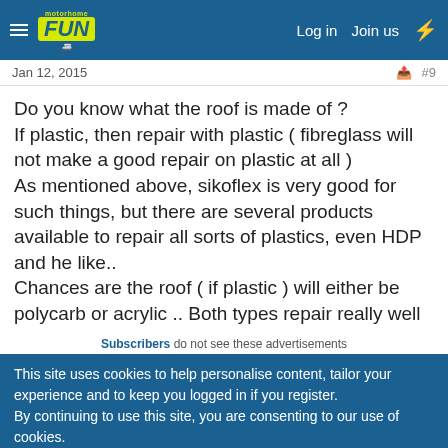motorhome FUN — Log in   Join us
Jan 12, 2015   #9
Do you know what the roof is made of ?
If plastic, then repair with plastic ( fibreglass will not make a good repair on plastic at all )
As mentioned above, sikoflex is very good for such things, but there are several products available to repair all sorts of plastics, even HDP and he like..
Chances are the roof ( if plastic ) will either be polycarb or acrylic .. Both types repair really well
Subscribers do not see these advertisements
This site uses cookies to help personalise content, tailor your experience and to keep you logged in if you register.
By continuing to use this site, you are consenting to our use of cookies.
✓ Accept   Learn more…